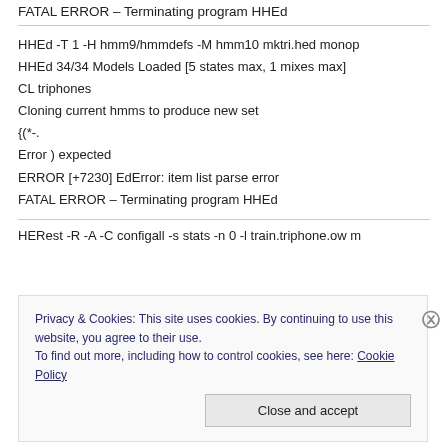FATAL ERROR – Terminating program HHEd
HHEd -T 1 -H hmm9/hmmdefs -M hmm10 mktri.hed monop
HHEd 34/34 Models Loaded [5 states max, 1 mixes max]
CL triphones
Cloning current hmms to produce new set
{(*-.
Error ) expected
ERROR [+7230] EdError: item list parse error
FATAL ERROR – Terminating program HHEd
HERest -R -A -C configall -s stats -n 0 -l train.triphone.ow m
Privacy & Cookies: This site uses cookies. By continuing to use this website, you agree to their use.
To find out more, including how to control cookies, see here: Cookie Policy
Close and accept